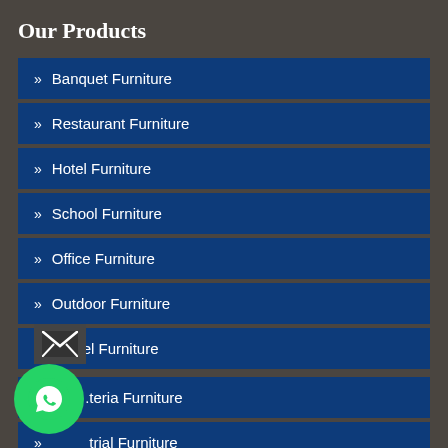Our Products
» Banquet Furniture
» Restaurant Furniture
» Hotel Furniture
» School Furniture
» Office Furniture
» Outdoor Furniture
» Hostel Furniture
» Cafeteria Furniture
» Industrial Furniture